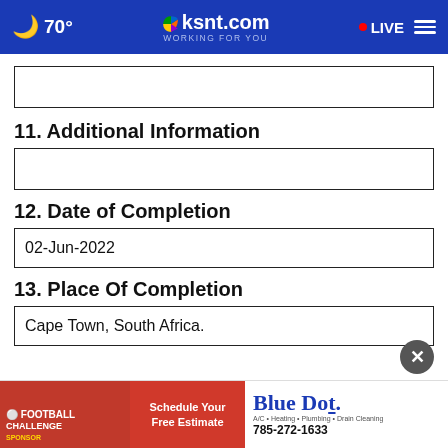70° ksnt.com WORKING FOR YOU LIVE
[Figure (screenshot): Empty input field box]
11. Additional Information
[Figure (screenshot): Empty input field box]
12. Date of Completion
02-Jun-2022
13. Place Of Completion
Cape Town, South Africa.
[Figure (screenshot): Blue Dot advertisement banner: Football Challenge Sponsor, Schedule Your Free Estimate, Blue Dot A/C Heating Plumbing Drain Cleaning, 785-272-1633]